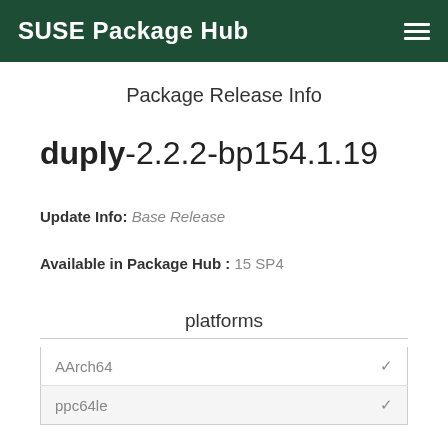SUSE Package Hub
Package Release Info
duply-2.2.2-bp154.1.19
Update Info: Base Release
Available in Package Hub : 15 SP4
platforms
|  |  |
| --- | --- |
| AArch64 | ✓ |
| ppc64le | ✓ |